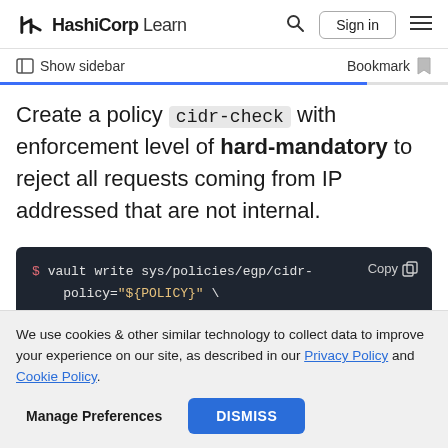HashiCorp Learn — Sign in
Show sidebar    Bookmark
Create a policy cidr-check with enforcement level of hard-mandatory to reject all requests coming from IP addressed that are not internal.
[Figure (screenshot): Dark code block showing terminal command: $ vault write sys/policies/egp/cidr-  policy="${POLICY}" \  paths="secret/*"\]
We use cookies & other similar technology to collect data to improve your experience on our site, as described in our Privacy Policy and Cookie Policy.
Manage Preferences    DISMISS